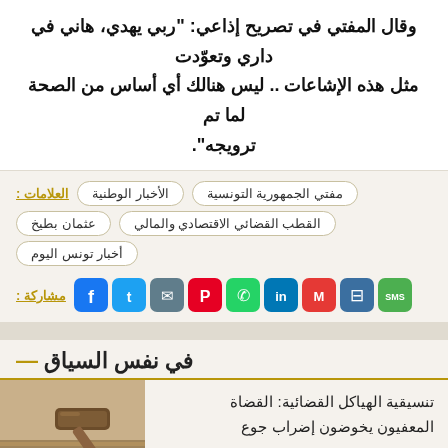وقال المفتي في تصريح إذاعي: "ربي يهدي، هاني في داري وتعوّدت مثل هذه الإشاعات .. ليس هنالك أي أساس من الصحة لما تم ترويجه".
العلامات : الأخبار الوطنية  مفتي الجمهورية التونسية  عثمان بطيخ  القطب القضائي الاقتصادي والمالي  أخبار تونس اليوم
[Figure (infographic): Social media share icons row: Facebook, Twitter, Email, Pinterest, WhatsApp, LinkedIn, Gmail, Print, SMS]
— في نفس السياق
تنسيقية الهياكل القضائية: القضاة المعفيون يخوضون إضراب جوع
[Figure (photo): Photo of a wooden judge's gavel on a desk]